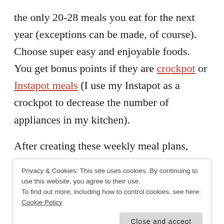the only 20-28 meals you eat for the next year (exceptions can be made, of course). Choose super easy and enjoyable foods. You get bonus points if they are crockpot or Instapot meals (I use my Instapot as a crockpot to decrease the number of appliances in my kitchen).
After creating these weekly meal plans,
Privacy & Cookies: This site uses cookies. By continuing to use this website, you agree to their use.
To find out more, including how to control cookies, see here: Cookie Policy
[Close and accept button]
these grocery lists. These are your new best